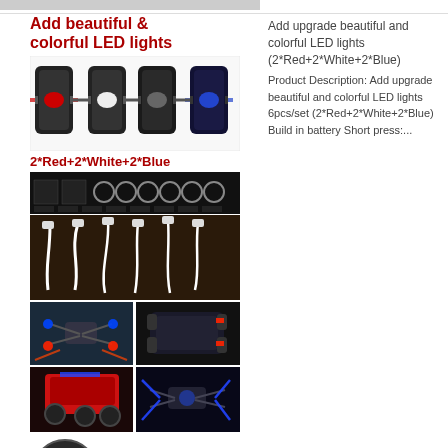[Figure (photo): Product listing image showing colorful LED lights for RC cars/drones, USB cables, battery info, and usage examples. Includes title 'Add beautiful & colorful LED lights', product images of red/white/blue LEDs, mounting accessories, USB charging cables, RC car and drone application photos, battery image, and 'Long press: ON/OFF' text.]
Add upgrade beautiful and colorful LED lights (2*Red+2*White+2*Blue)
Product Description: Add upgrade beautiful and colorful LED lights 6pcs/set (2*Red+2*White+2*Blue) Build in battery Short press:...